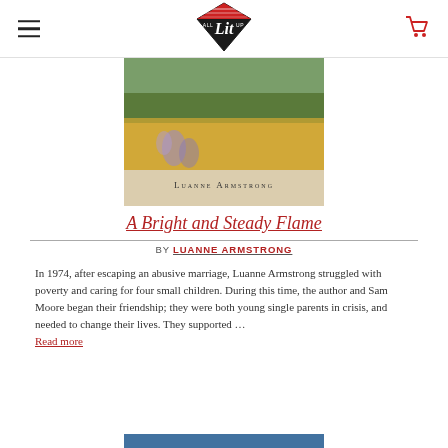All Lit Up logo with hamburger menu and cart icon
[Figure (photo): Book cover of 'A Bright and Steady Flame' by Luanne Armstrong, showing a field of grass and wildflowers with a banner at the bottom reading 'Luanne Armstrong']
A Bright and Steady Flame
BY LUANNE ARMSTRONG
In 1974, after escaping an abusive marriage, Luanne Armstrong struggled with poverty and caring for four small children. During this time, the author and Sam Moore began their friendship; they were both young single parents in crisis, and needed to change their lives. They supported … Read more